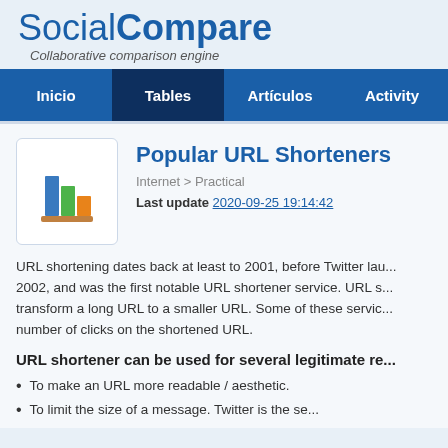SocialCompare — Collaborative comparison engine
Popular URL Shorteners
Internet > Practical
Last update 2020-09-25 19:14:42
URL shortening dates back at least to 2001, before Twitter lau... 2002, and was the first notable URL shortener service. URL s... transform a long URL to a smaller URL. Some of these servic... number of clicks on the shortened URL.
URL shortener can be used for several legitimate re...
To make an URL more readable / aesthetic.
To limit the size of a message. Twitter is the se...
But some other instant messages services or...